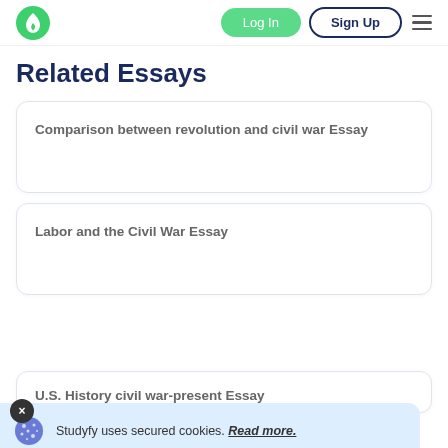Log In | Sign Up
Related Essays
Comparison between revolution and civil war Essay
Labor and the Civil War Essay
Studyfy uses secured cookies. Read more.
U.S. History civil war-present Essay